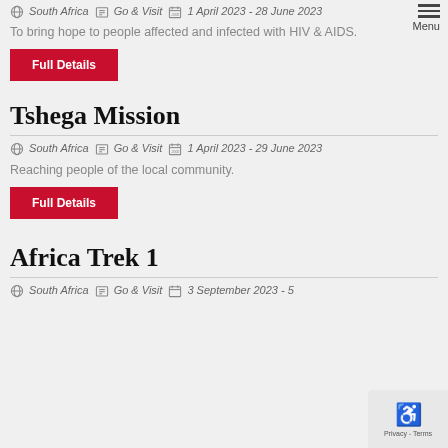South Africa   Go & Visit   1 April 2023 - 28 June 2023
Menu
To bring hope to people affected and infected with HIV & AIDS.
Full Details
Tshega Mission
South Africa   Go & Visit   1 April 2023 - 29 June 2023
Reaching people of the local community.
Full Details
Africa Trek 1
South Africa   Go & Visit   3 September 2023 - 5